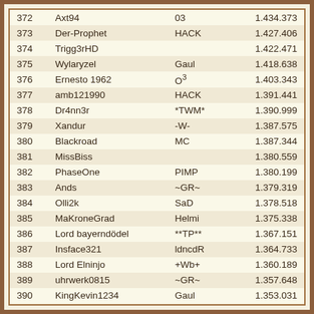| Rank | Name | Alliance | Score |
| --- | --- | --- | --- |
| 372 | Axt94 | 03 | 1.434.373 |
| 373 | Der-Prophet | HACK | 1.427.406 |
| 374 | Trigg3rHD |  | 1.422.471 |
| 375 | Wylaryzel | Gaul | 1.418.638 |
| 376 | Ernesto 1962 | O³ | 1.403.343 |
| 377 | amb121990 | HACK | 1.391.441 |
| 378 | Dr4nn3r | *TWM* | 1.390.999 |
| 379 | Xandur | -W- | 1.387.575 |
| 380 | Blackroad | MC | 1.387.344 |
| 381 | MissBiss |  | 1.380.559 |
| 382 | PhaseOne | PIMP | 1.380.199 |
| 383 | Ands | ~GR~ | 1.379.319 |
| 384 | Olli2k | SaD | 1.378.518 |
| 385 | MaKroneGrad | Helmi | 1.375.338 |
| 386 | Lord bayerndödel | **TP** | 1.367.151 |
| 387 | Insface321 | ldncdR | 1.364.733 |
| 388 | Lord Elninjo | +Wb+ | 1.360.189 |
| 389 | uhrwerk0815 | ~GR~ | 1.357.648 |
| 390 | KingKevin1234 | Gaul | 1.353.031 |
| 391 | Ragnarr | HalluZ | 1.342.756 |